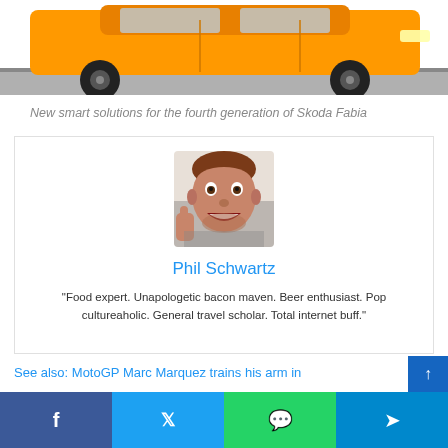[Figure (photo): Bottom portion of an orange car on a road, showing wheels and body]
New smart solutions for the fourth generation of Skoda Fabia
[Figure (photo): Portrait photo of Phil Schwartz making an excited face with thumbs up]
Phil Schwartz
“Food expert. Unapologetic bacon maven. Beer enthusiast. Pop cultureaholic. General travel scholar. Total internet buff.”
See also: MotoGP Marc Marquez trains his arm in
[Figure (other): Social sharing bar with Facebook, Twitter, WhatsApp, and Telegram buttons]